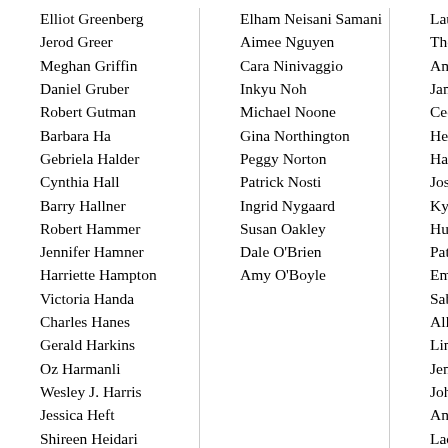Elliot Greenberg
Jerod Greer
Meghan Griffin
Daniel Gruber
Robert Gutman
Barbara Ha
Gebriela Halder
Cynthia Hall
Barry Hallner
Robert Hammer
Jennifer Hamner
Harriette Hampton
Victoria Handa
Charles Hanes
Gerald Harkins
Oz Harmanli
Wesley J. Harris
Jessica Heft
Shireen Heidari
Christine Heisler
Elham Neisani Samani
Aimee Nguyen
Cara Ninivaggio
Inkyu Noh
Michael Noone
Gina Northington
Peggy Norton
Patrick Nosti
Ingrid Nygaard
Susan Oakley
Dale O'Brien
Amy O'Boyle
Lauren [truncated]
Thomas [truncated]
Amanda [truncated]
James [truncated]
Cecilia [truncated]
Heather [truncated]
Harvey [truncated]
Joshua [truncated]
Kyle W [truncated]
Hugh W [truncated]
Patrick [truncated]
Emily [truncated]
Sabrina [truncated]
Allison [truncated]
Linda [truncated]
Jennifer [truncated]
Johnny [truncated]
Angel [truncated]
Ladin [truncated]
Wong [truncated]